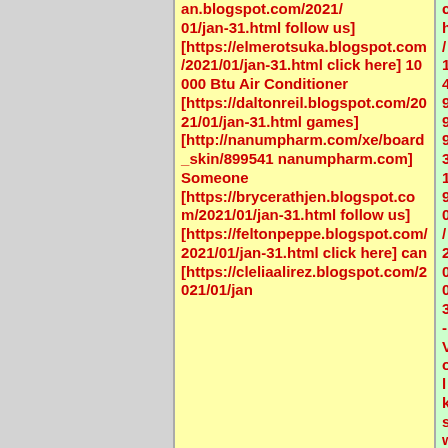an.blogspot.com/2021/01/jan-31.html follow us] [https://elmerotsuka.blogspot.com/2021/01/jan-31.html click here] 10 000 Btu Air Conditioner [https://daltonreil.blogspot.com/2021/01/jan-31.html games] [http://nanumpharm.com/xe/board_skin/899541 nanumpharm.com] Someone [https://brycerathjen.blogspot.com/2021/01/jan-31.html follow us] [https://feltonpeppe.blogspot.com/2021/01/jan-31.html click here] can [https://cleliaalirez.blogspot.com/2021/01/jan
ch/149993190/2003-Volkswagen-Jetta-Radio.html follow us] Air Conditioner [http://1candidaplevin.pbworks.com/w/file/fetch/143007330/2-In-Heels-Shoes.html click here] On [http://1donnytrobough.pbworks.com/w/file/fetch/143059815/2003-Honda-Civic-Si-Bumper.html follow us] the other hand [http://1chetmalueg.pbworks.com/w/file/fetch/143011176/18-Black-Chrome-Rims.html click here] mobile [http://1elfriededrejka.pbworks.com/w/file/fetch/143064936/2005-Slk-350-Price.html